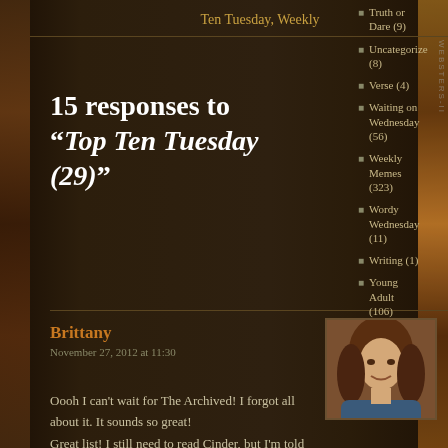Ten Tuesday, Weekly
Truth or Dare (9)
Uncategorize (8)
Verse (4)
Waiting on Wednesday (56)
Weekly Memes (323)
Wordy Wednesday (11)
Writing (1)
Young Adult (106)
15 responses to “Top Ten Tuesday (29)”
Brittany
November 27, 2012 at 11:30
Oooh I can't wait for The Archived! I forgot all about it. It sounds so great!
Great list! I still need to read Cinder, but I'm told I'll love it!
Reply